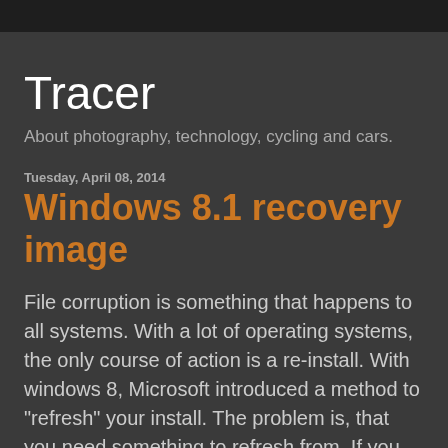Tracer
About photography, technology, cycling and cars.
Tuesday, April 08, 2014
Windows 8.1 recovery image
File corruption is something that happens to all systems. With a lot of operating systems, the only course of action is a re-install. With windows 8, Microsoft introduced a method to "refresh" your install. The problem is, that you need something to refresh from. If you purchased a PC installed with Windows 8, or purchased a Windows 8 upgrade when Microsoft was practically giving them away then you may have a slight problem. If your media is Windows 8.1 you're fine, and can just use that, but it's still not ideal. If you're